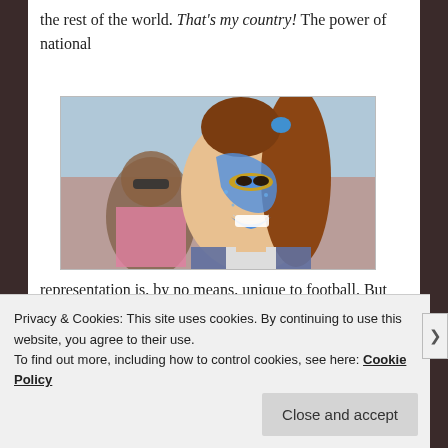the rest of the world. That's my country! The power of national
[Figure (photo): A smiling young woman with blue and gold face paint at a sports event, with a crowd behind her.]
representation is, by no means, unique to football. But the World Cup manages to elicit a more passionate, fervent
Privacy & Cookies: This site uses cookies. By continuing to use this website, you agree to their use. To find out more, including how to control cookies, see here: Cookie Policy
Close and accept